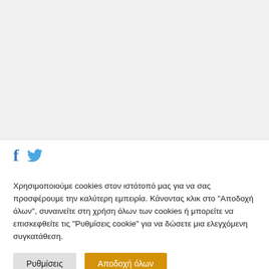[Figure (screenshot): Gray placeholder area at the top of the page representing a webpage content area]
[Figure (infographic): Social sharing bar with Facebook (f) icon in blue and Twitter bird icon in blue]
Χρησιμοποιούμε cookies στον ιστότοπό μας για να σας προσφέρουμε την καλύτερη εμπειρία. Κάνοντας κλικ στο "Αποδοχή όλων", συναινείτε στη χρήση όλων των cookies ή μπορείτε να επισκεφθείτε τις "Ρυθμίσεις cookie" για να δώσετε μια ελεγχόμενη συγκατάθεση.
Ρυθμίσεις
Αποδοχή όλων